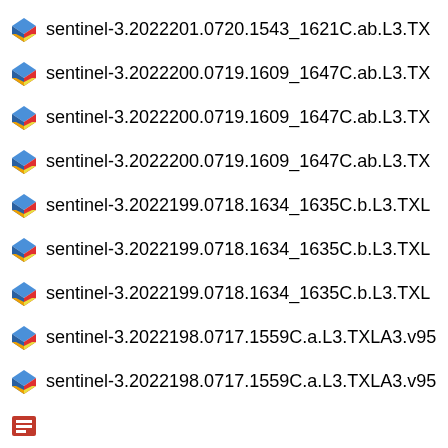sentinel-3.2022201.0720.1543_1621C.ab.L3.TX
sentinel-3.2022200.0719.1609_1647C.ab.L3.TX
sentinel-3.2022200.0719.1609_1647C.ab.L3.TX
sentinel-3.2022200.0719.1609_1647C.ab.L3.TX
sentinel-3.2022199.0718.1634_1635C.b.L3.TXL
sentinel-3.2022199.0718.1634_1635C.b.L3.TXL
sentinel-3.2022199.0718.1634_1635C.b.L3.TXL
sentinel-3.2022198.0717.1559C.a.L3.TXLA3.v95
sentinel-3.2022198.0717.1559C.a.L3.TXLA3.v95